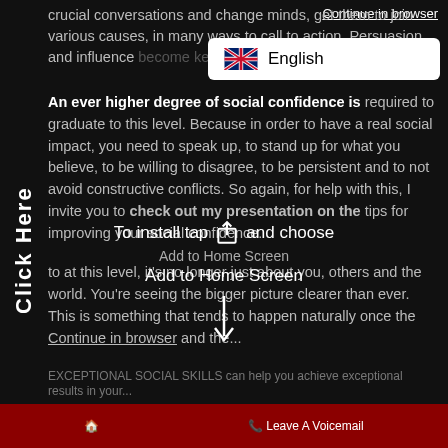Continue in browser
[Figure (screenshot): Language selection dropdown showing English with UK/US flag]
crucial conversations and change minds, get them to join various causes, in many ways to call to action. Persuasion and influence become key interests for you.
An ever higher degree of social confidence is required to graduate to this level. Because in order to have a real social impact, you need to speak up, to stand up for what you believe, to be willing to disagree, to be persistent and to not avoid constructive conflicts. So again, for help with this, I invite you to check out my presentation on the tips for improving your social confidence.
[Figure (screenshot): PWA install prompt overlay: 'To install tap [share icon] and choose Add to Home Screen' with downward arrow]
to at this level, it's no longer just about you, others and the world. You're seeing the bigger picture clearer than ever. This is something that tends to happen naturally once the
Continue in browser
Leave A Voicemail